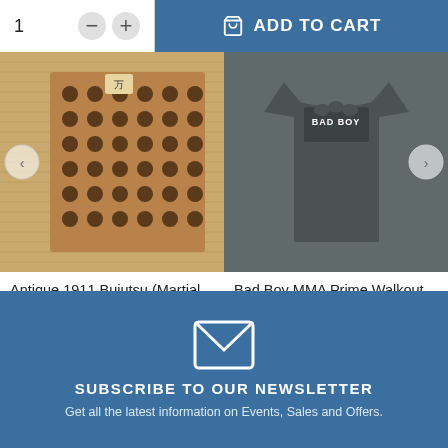[Figure (screenshot): Add to cart UI with quantity selector showing 1, minus and plus buttons, and a blue ADD TO CART button with shopping bag icon]
[Figure (photo): Antique 1911 Bujutsu wooden board with circular dot pattern on woven mat background]
Antique 1911 Bujutsu (Martial ...
$ 99
[Figure (photo): Bad Boy MMA Prime Walkout dark grey t-shirt with Bad Boy logo]
Bad Boy MMA Prime Walkout...
$ 28.63
[Figure (illustration): White envelope icon on blue background]
SUBSCRIBE TO OUR NEWSLETTER
Get all the latest information on Events, Sales and Offers.